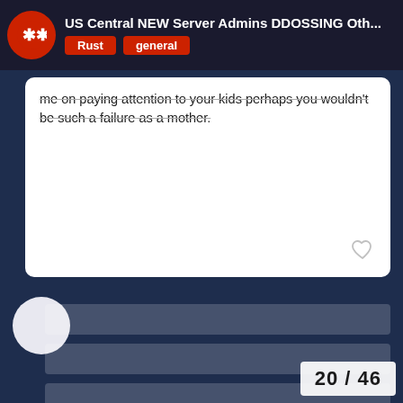US Central NEW Server Admins DDOSSING Oth... | Rust | general
me on paying attention to your kids perhaps you wouldn't be such a failure as a mother.
[Figure (screenshot): Two redacted/blurred message entries with white circular avatars and white translucent redacted bars for usernames and message text]
20 / 46